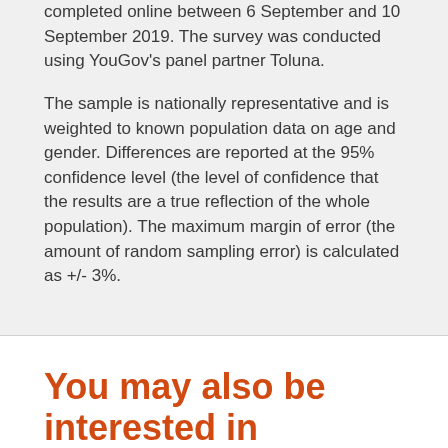completed online between 6 September and 10 September 2019. The survey was conducted using YouGov's panel partner Toluna.
The sample is nationally representative and is weighted to known population data on age and gender. Differences are reported at the 95% confidence level (the level of confidence that the results are a true reflection of the whole population). The maximum margin of error (the amount of random sampling error) is calculated as +/- 3%.
You may also be interested in